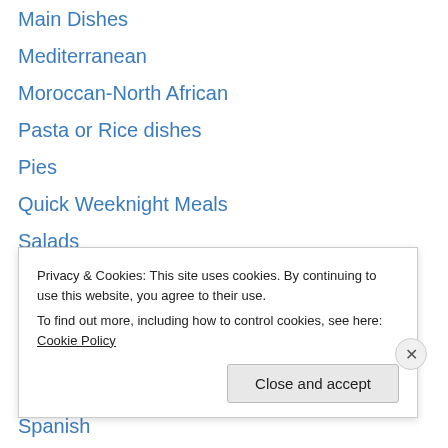Main Dishes
Mediterranean
Moroccan-North African
Pasta or Rice dishes
Pies
Quick Weeknight Meals
Salads
Sandwiches
Side Dishes
Small plates
Soups and stews
Spanish
Spring
Summer
Privacy & Cookies: This site uses cookies. By continuing to use this website, you agree to their use. To find out more, including how to control cookies, see here: Cookie Policy
Close and accept